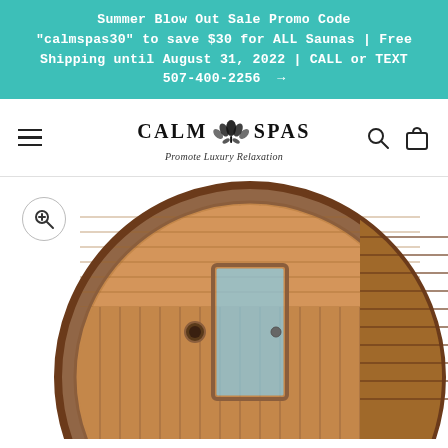Summer Blow Out Sale Promo Code "calmspas30" to save $30 for ALL Saunas | Free Shipping until August 31, 2022 | CALL or TEXT 507-400-2256 →
[Figure (logo): Calm Spas logo with lotus flower emblem and tagline 'Promote Luxury Relaxation', flanked by hamburger menu icon on left and search/cart icons on right]
[Figure (photo): Outdoor barrel sauna made of cedar wood with a glass door, viewed from a front-angle perspective showing the circular barrel shape and wood plank construction]